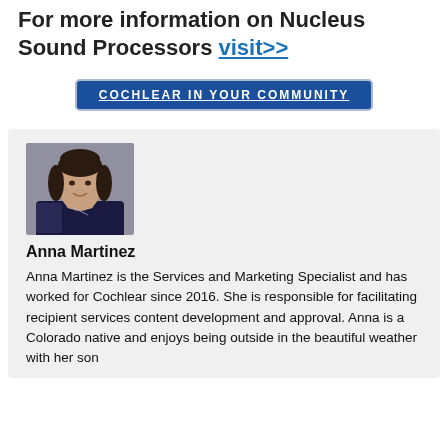For more information on Nucleus Sound Processors visit>>
COCHLEAR IN YOUR COMMUNITY
[Figure (photo): Portrait photo of Anna Martinez, a woman with dark hair, smiling, wearing a dark navy patterned top, photographed against a gray background.]
Anna Martinez
Anna Martinez is the Services and Marketing Specialist and has worked for Cochlear since 2016. She is responsible for facilitating recipient services content development and approval. Anna is a Colorado native and enjoys being outside in the beautiful weather with her son...